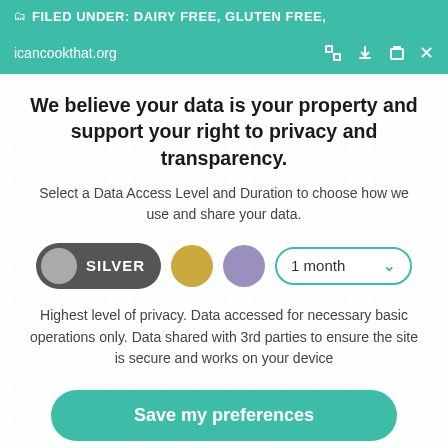FILED UNDER: DAIRY FREE, GLUTEN FREE,
icancookthat.org
We believe your data is your property and support your right to privacy and transparency.
Select a Data Access Level and Duration to choose how we use and share your data.
[Figure (infographic): Privacy level selector showing SILVER toggle (active, dark grey), gold circle, purple circle, and a '1 month' dropdown selector]
Highest level of privacy. Data accessed for necessary basic operations only. Data shared with 3rd parties to ensure the site is secure and works on your device
Save my preferences
Customize   Privacy policy  |  Do Not Sell